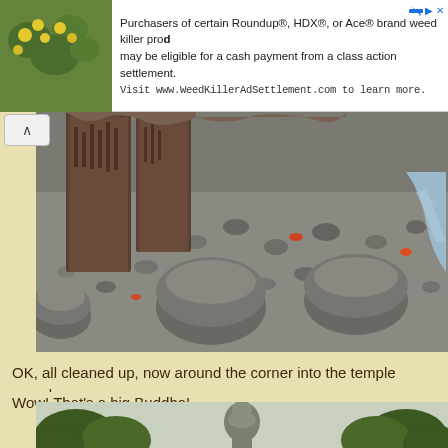[Figure (screenshot): Advertisement banner with photo of yellow flowers and green foliage on the left, and text about Roundup weed killer class action settlement on the right]
[Figure (photo): Close-up photo of stone base of a Japanese monument or temple structure, with inscribed metal panels, round stone pedestals, and colorful pebbles on the ground]
OK, all cleaned up, now around the corner into the temple complex...
Wow! That's a big Buddha!
[Figure (photo): Photo of large Great Buddha statue (Kamakura) visible above treeline, surrounded by green trees against a pale sky]